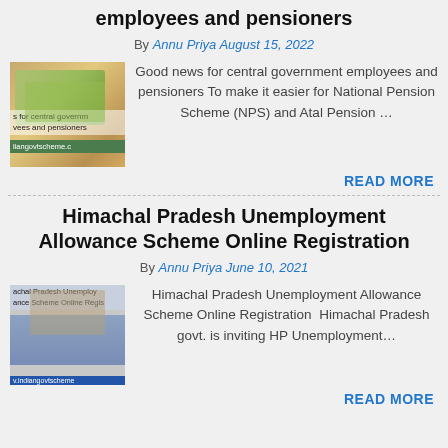employees and pensioners
By Annu Priya August 15, 2022
[Figure (photo): Thumbnail image showing Indian currency notes for central government employees and pensioners article]
Good news for central government employees and pensioners To make it easier for National Pension Scheme (NPS) and Atal Pension …
READ MORE
Himachal Pradesh Unemployment Allowance Scheme Online Registration
By Annu Priya June 10, 2021
[Figure (photo): Thumbnail image for Himachal Pradesh Unemployment Allowance Scheme Online Registration article]
Himachal Pradesh Unemployment Allowance Scheme Online Registration  Himachal Pradesh govt. is inviting HP Unemployment…
READ MORE